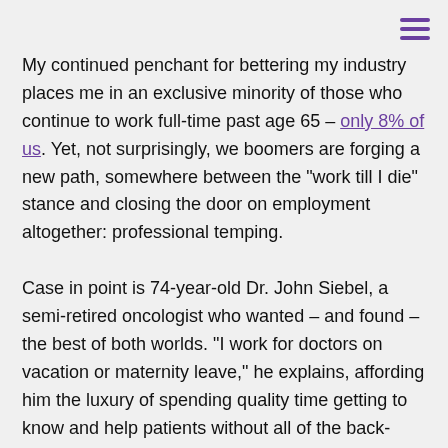My continued penchant for bettering my industry places me in an exclusive minority of those who continue to work full-time past age 65 – only 8% of us. Yet, not surprisingly, we boomers are forging a new path, somewhere between the "work till I die" stance and closing the door on employment altogether: professional temping.
Case in point is 74-year-old Dr. John Siebel, a semi-retired oncologist who wanted – and found – the best of both worlds. "I work for doctors on vacation or maternity leave," he explains, affording him the luxury of spending quality time getting to know and help patients without all of the back-office time constraints. He adds that in order for such an arrangement to work, someone must possess "in-demand skills, good health, and some financial security."